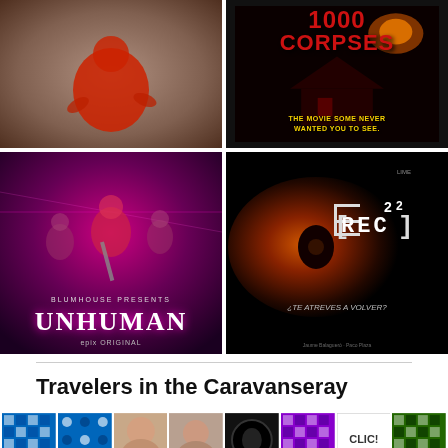[Figure (photo): Movie poster or screenshot showing a person in red from above on a sandy/dusty surface]
[Figure (photo): House of 1000 Corpses movie poster with red text on dark background, subtitle: THE MOVIE SOME NEVER WANTED YOU TO SEE.]
[Figure (photo): Blumhouse Presents Unhuman movie poster on EPIX, group of teens in pink/purple neon bus interior, shirtless bloody young man with bat]
[Figure (photo): [REC]2 movie poster with glowing eye close-up on dark background, Spanish text: ¿TE ATREVES A VOLVER?]
Travelers in the Caravanseray
[Figure (photo): Row of small thumbnail images: blue mosaic patterns, portrait photos, dark circle, purple mosaic, CLIC! image, green mosaic]